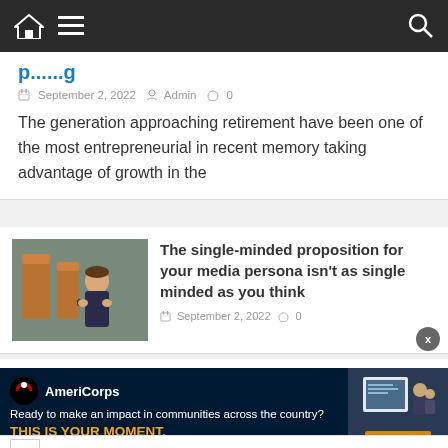Navigation bar with home, menu, and search icons
[partial title cut off]
September 2, 2022  Admin  0
The generation approaching retirement have been one of the most entrepreneurial in recent memory taking advantage of growth in the
The single-minded proposition for your media persona isn't as single minded as you think
September 2, 2022  0
The cost of trading crisis: How SMEs can operate more efficiently
Kyrgios ends Medvedev's reign
[Figure (screenshot): AmeriCorps advertisement: Ready to make an impact in communities across the country? THIS IS YOUR MOMENT. with LEARN MORE button]